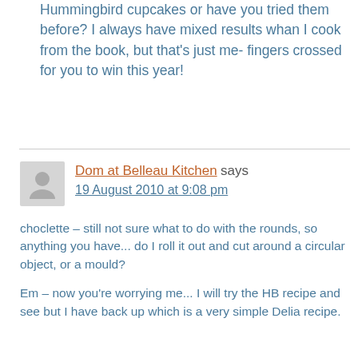Good luck you!! Are you trialing the Hummingbird cupcakes or have you tried them before? I always have mixed results whan I cook from the book, but that's just me- fingers crossed for you to win this year!
Dom at Belleau Kitchen says
19 August 2010 at 9:08 pm
choclette – still not sure what to do with the rounds, so anything you have... do I roll it out and cut around a circular object, or a mould?
Em – now you're worrying me... I will try the HB recipe and see but I have back up which is a very simple Delia recipe.